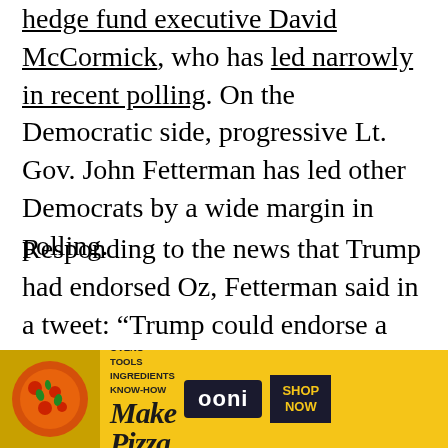hedge fund executive David McCormick, who has led narrowly in recent polling. On the Democratic side, progressive Lt. Gov. John Fetterman has led other Democrats by a wide margin in polling.
Responding to the news that Trump had endorsed Oz, Fetterman said in a tweet: “Trump could endorse a ham sandwich and super PACs would still dump money behind it.”
[Figure (infographic): Advertisement banner for Ooni pizza ovens on a yellow background. Shows pizza image on left, text 'OVENS TOOLS INGREDIENTS KNOW-HOW' and 'Make Pizza' in stylized script, Ooni logo badge, and 'SHOP NOW' button on dark background.]